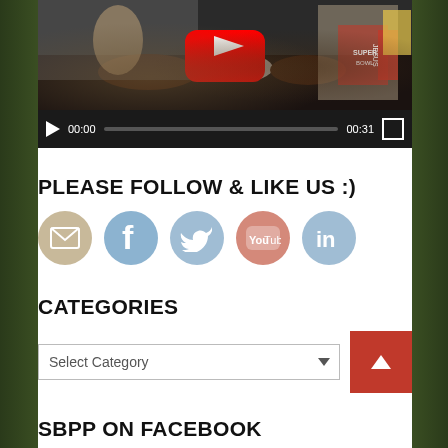[Figure (screenshot): YouTube video player showing a Super Bowl food preparation scene with a woman in a Super Bowl apron. Video controls show 00:00 / 00:31 with progress bar and fullscreen button.]
PLEASE FOLLOW & LIKE US :)
[Figure (infographic): Social media icons row: email (envelope), Facebook, Twitter, YouTube, LinkedIn - all circular icons in muted colors]
CATEGORIES
[Figure (screenshot): Select Category dropdown with scroll-to-top red button]
SBPP ON FACEBOOK